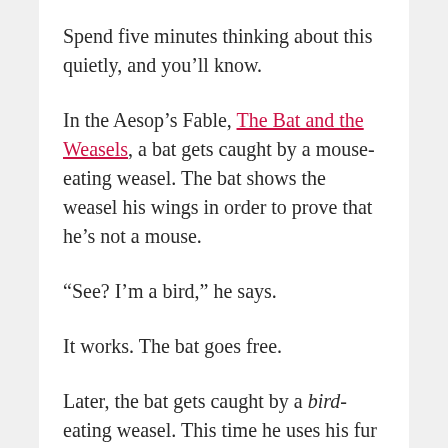Spend five minutes thinking about this quietly, and you'll know.
In the Aesop's Fable, The Bat and the Weasels, a bat gets caught by a mouse-eating weasel. The bat shows the weasel his wings in order to prove that he's not a mouse.
“See? I’m a bird,” he says.
It works. The bat goes free.
Later, the bat gets caught by a bird-eating weasel. This time he uses his fur to prove